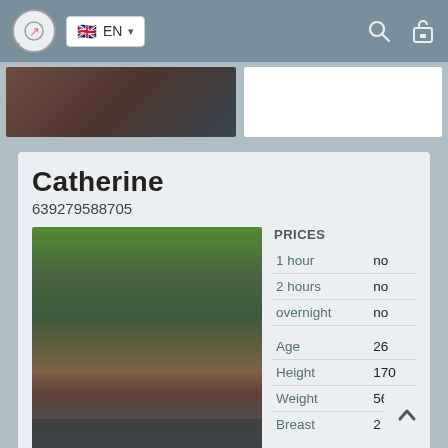EN
[Figure (screenshot): Partial blurred photo strip at top]
Catherine
639279588705
[Figure (photo): Profile photo of a young woman outdoors with trees and plants in background]
|  |  |
| --- | --- |
| PRICES |  |
| 1 hour | no |
| 2 hours | no |
| overnight | no |
| Age | 26 |
| Height | 170 |
| Weight | 56 |
| Breast | 2 |